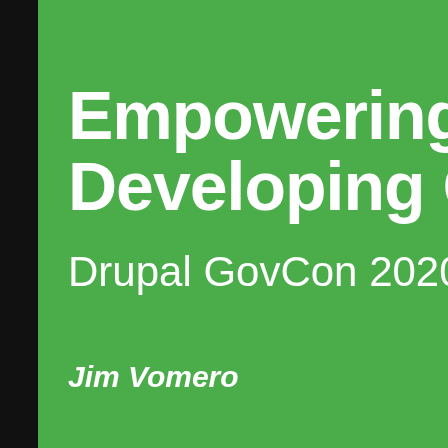Empowering Developing C
Drupal GovCon 2020
Jim Vomero